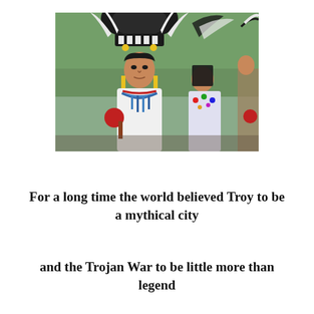[Figure (photo): Native American people in traditional ceremonial regalia including large feathered headdresses. The main figure in the foreground is a young man wearing a white outfit with blue beaded decorations and holding a red rattle. Behind him are other participants in colorful traditional dress, with tall feathered headdresses visible. The background shows trees.]
For a long time the world believed Troy to be a mythical city
and the Trojan War to be little more than legend